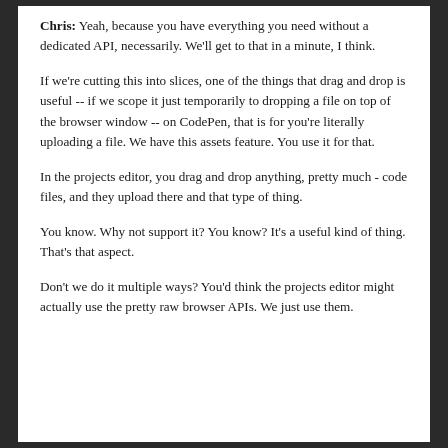Chris: Yeah, because you have everything you need without a dedicated API, necessarily. We'll get to that in a minute, I think.
If we're cutting this into slices, one of the things that drag and drop is useful -- if we scope it just temporarily to dropping a file on top of the browser window -- on CodePen, that is for you're literally uploading a file. We have this assets feature. You use it for that.
In the projects editor, you drag and drop anything, pretty much - code files, and they upload there and that type of thing.
You know. Why not support it? You know? It's a useful kind of thing. That's that aspect.
Don't we do it multiple ways? You'd think the projects editor might actually use the pretty raw browser APIs. We just use them.